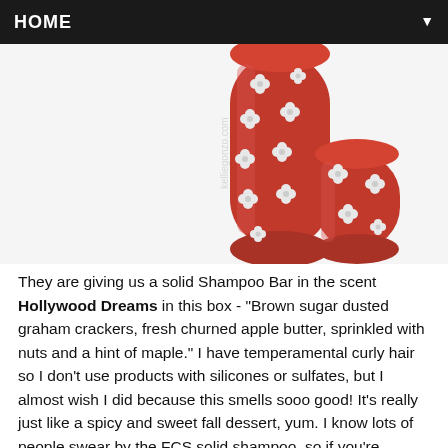HOME
[Figure (photo): Red metallic cylindrical container with decorative silver floral/clover embellishments and its matching round cap, placed on a white background. A watermark reads 'kelliegonzo.com'.]
They are giving us a solid Shampoo Bar in the scent Hollywood Dreams in this box - "Brown sugar dusted graham crackers, fresh churned apple butter, sprinkled with nuts and a hint of maple." I have temperamental curly hair so I don't use products with silicones or sulfates, but I almost wish I did because this smells sooo good! It's really just like a spicy and sweet fall dessert, yum. I know lots of people swear by the FCS solid shampoo, so if you're